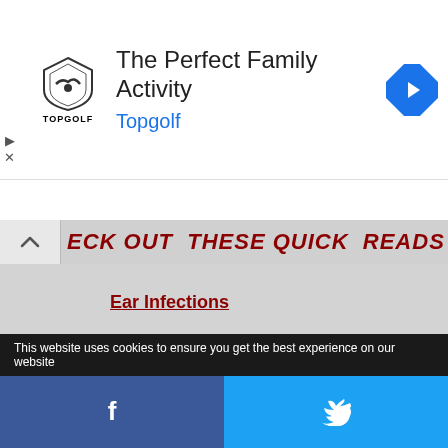[Figure (logo): Topgolf advertisement banner with shield logo, 'The Perfect Family Activity' heading, and blue 'Topgolf' link text, with navigation diamond icon on the right]
ECK OUT THESE QUICK READS
Ear Infections
Post Nasal Drip
Persistent Cough
This website uses cookies to ensure you get the best experience on our website
Facebook and Twitter share buttons